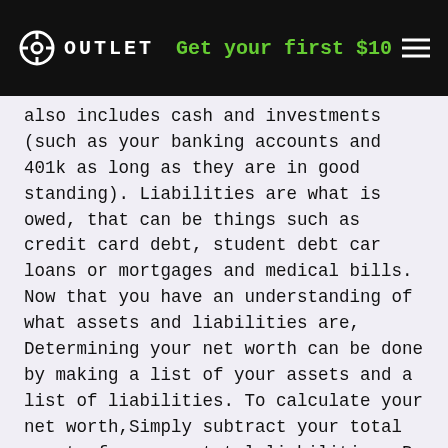OUTLET | Get your first $10
also includes cash and investments (such as your banking accounts and 401k as long as they are in good standing). Liabilities are what is owed, that can be things such as credit card debt, student debt car loans or mortgages and medical bills. Now that you have an understanding of what assets and liabilities are, Determining your net worth can be done by making a list of your assets and a list of liabilities. To calculate your net worth,Simply subtract your total assets from your total liabilities. By knowing your net worth you will be able to set a better course for major life milestones such as retirement, buying a home, etc. A wealth advisor is very important in identifying these crucial wealth